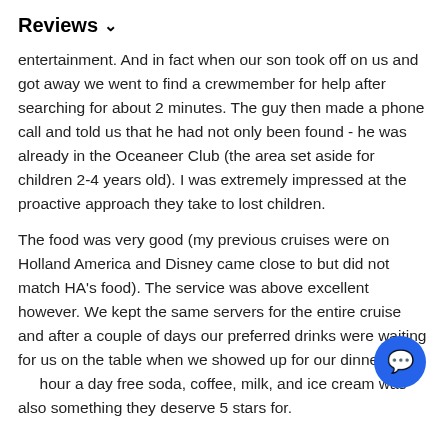Reviews ∨
entertainment. And in fact when our son took off on us and got away we went to find a crewmember for help after searching for about 2 minutes. The guy then made a phone call and told us that he had not only been found - he was already in the Oceaneer Club (the area set aside for children 2-4 years old). I was extremely impressed at the proactive approach they take to lost children.
The food was very good (my previous cruises were on Holland America and Disney came close to but did not match HA's food). The service was above excellent however. We kept the same servers for the entire cruise and after a couple of days our preferred drinks were waiting for us on the table when we showed up for our dinner. The 24 hour a day free soda, coffee, milk, and ice cream was also something they deserve 5 stars for.